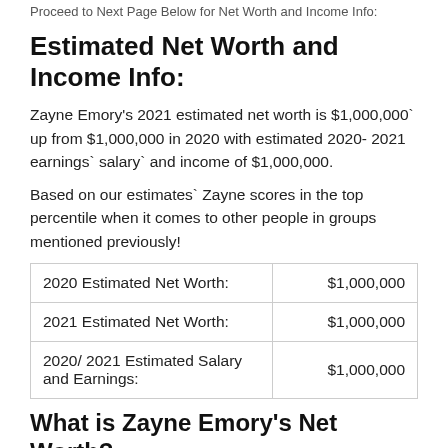Proceed to Next Page Below for Net Worth and Income Info:
Estimated Net Worth and Income Info:
Zayne Emory's 2021 estimated net worth is $1,000,000` up from $1,000,000 in 2020 with estimated 2020- 2021 earnings` salary` and income of $1,000,000.
Based on our estimates` Zayne scores in the top percentile when it comes to other people in groups mentioned previously!
|  |  |
| --- | --- |
| 2020 Estimated Net Worth: | $1,000,000 |
| 2021 Estimated Net Worth: | $1,000,000 |
| 2020/ 2021 Estimated Salary and Earnings: | $1,000,000 |
What is Zayne Emory's Net Worth?